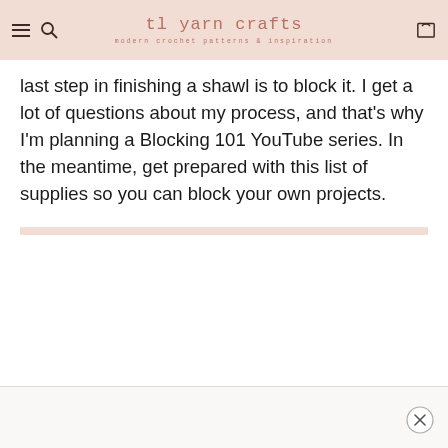tl yarn crafts — modern crochet patterns & inspiration
last step in finishing a shawl is to block it. I get a lot of questions about my process, and that's why I'm planning a Blocking 101 YouTube series. In the meantime, get prepared with this list of supplies so you can block your own projects.